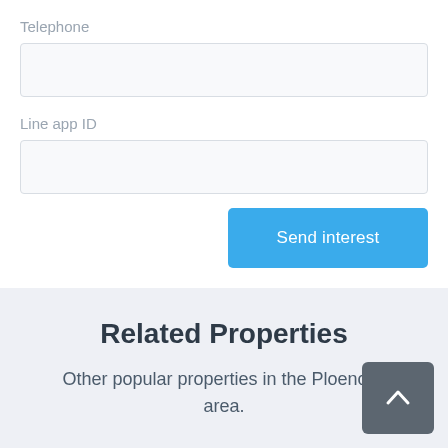Telephone
Line app ID
Send interest
Related Properties
Other popular properties in the Ploenchit area.